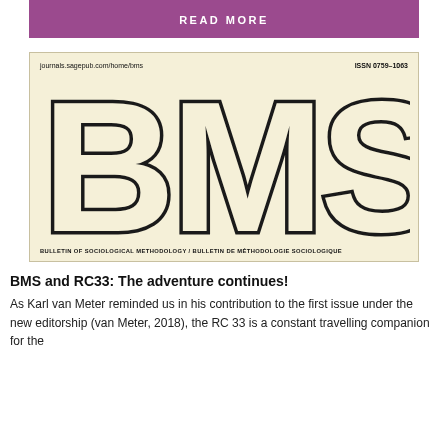READ MORE
[Figure (logo): BMS journal cover - cream/beige background with large bold letters BMS, subtitle: Bulletin of Sociological Methodology / Bulletin de Méthodologie Sociologique, URL journals.sagepub.com/home/bms, ISSN 0759-1063]
BMS and RC33: The adventure continues!
As Karl van Meter reminded us in his contribution to the first issue under the new editorship (van Meter, 2018), the RC 33 is a constant travelling companion for the